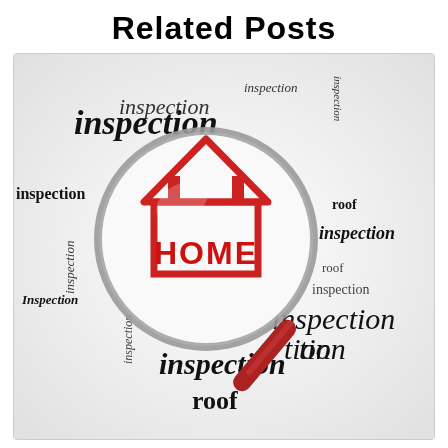Related Posts
[Figure (illustration): Word cloud / typographic illustration featuring the words 'inspection', 'HOME', 'roof' in various sizes, orientations, and weights, with a magnifying glass centered on a red house icon labeled HOME. Words include 'inspection' in large bold across the left side, smaller italic and rotated instances of 'inspection' and 'roof' scattered around, and a magnifying glass graphic with a red handle focusing on a red house outline containing the word HOME in bold red.]